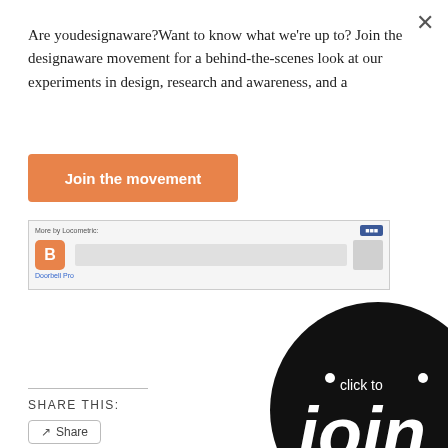Are youdesignaware?Want to know what we're up to? Join the designaware movement for a behind-the-scenes look at our experiments in design, research and awareness, and a
Join the movement
[Figure (screenshot): Screenshot of a Blogger/Locometric app listing page with a blogger icon and a blue button]
[Figure (illustration): Black circle button with white text reading 'click to join the movement']
SHARE THIS:
Share